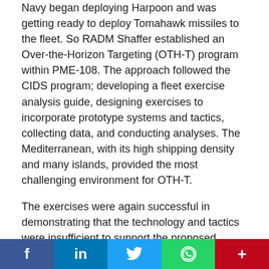Navy began deploying Harpoon and was getting ready to deploy Tomahawk missiles to the fleet. So RADM Shaffer established an Over-the-Horizon Targeting (OTH-T) program within PME-108. The approach followed the CIDS program; developing a fleet exercise analysis guide, designing exercises to incorporate prototype systems and tactics, collecting data, and conducting analyses. The Mediterranean, with its high shipping density and many islands, provided the most challenging environment for OTH-T.
The exercises were again successful in demonstrating that the technology and tactics were insufficient to support the proposed concepts for anti-ship Tomahawk use. This and the abundance of targets ashore were major factors in emphasizing land attack versus anti-ship versions of the Tomahawk missile.
Advanced Technology Panel
[Figure (other): Social media sharing bar with Facebook, LinkedIn, Twitter, WhatsApp, and Pinterest buttons]